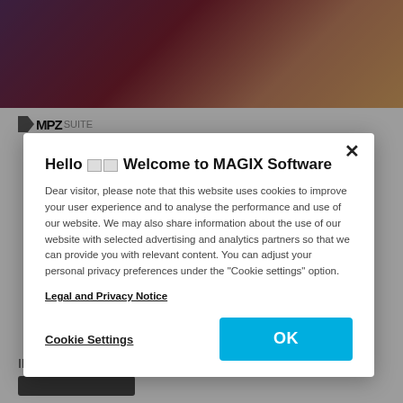[Figure (screenshot): Background webpage with a photo of a woman with red/purple patterned jacket and blonde hair at the top, and a gray website content area below with MPZ logo visible]
Hello 🙂 Welcome to MAGIX Software
Dear visitor, please note that this website uses cookies to improve your user experience and to analyse the performance and use of our website. We may also share information about the use of our website with selected advertising and analytics partners so that we can provide you with relevant content. You can adjust your personal privacy preferences under the "Cookie settings" option.
Legal and Privacy Notice
Cookie Settings
OK
ID3 tags.